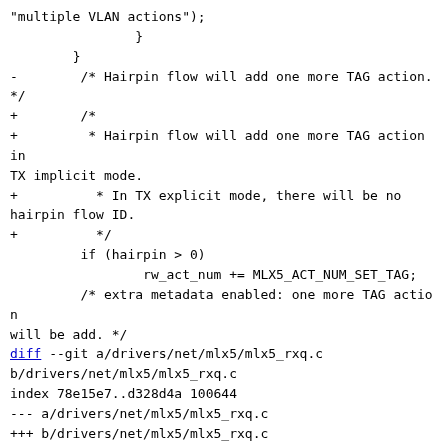"multiple VLAN actions");
                }
        }
-        /* Hairpin flow will add one more TAG action.
*/
+        /*
+         * Hairpin flow will add one more TAG action in
TX implicit mode.
+          * In TX explicit mode, there will be no
hairpin flow ID.
+          */
         if (hairpin > 0)
                 rw_act_num += MLX5_ACT_NUM_SET_TAG;
         /* extra metadata enabled: one more TAG action
will be add. */
diff --git a/drivers/net/mlx5/mlx5_rxq.c
b/drivers/net/mlx5/mlx5_rxq.c
index 78e15e7..d328d4a 100644
--- a/drivers/net/mlx5/mlx5_rxq.c
+++ b/drivers/net/mlx5/mlx5_rxq.c
@@ -1720,6 +1720,33 @@ enum mlx5_rxq_type
         return MLX5_RXQ_TYPE_UNDEFINED;
 }

+/*
+ * Get a Rx hairpin queue configuration.
+ *
+ * @param dev
+ *   Pointer to Ethernet device.
+ * @param idx